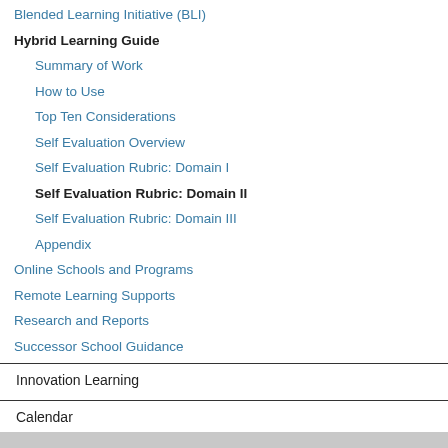Blended Learning Initiative (BLI)
Hybrid Learning Guide
Summary of Work
How to Use
Top Ten Considerations
Self Evaluation Overview
Self Evaluation Rubric: Domain I
Self Evaluation Rubric: Domain II
Self Evaluation Rubric: Domain III
Appendix
Online Schools and Programs
Remote Learning Supports
Research and Reports
Successor School Guidance
Innovation Learning
Calendar
Contact Us